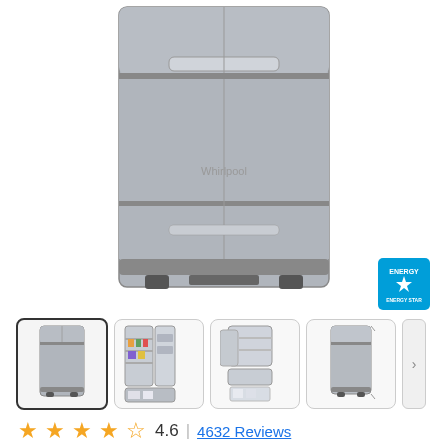[Figure (photo): Main product image of a stainless steel bottom-freezer refrigerator, showing top portion of the appliance against white background]
[Figure (logo): ENERGY STAR certification badge in blue]
[Figure (photo): Row of four product thumbnail images: (1) full front view of stainless steel refrigerator, selected; (2) open refrigerator showing interior with food; (3) refrigerator with freezer drawer open; (4) side-angle view of refrigerator. Navigation arrow on right.]
4.6 | 4632 Reviews
33-inches wide Bottom-Freezer Refrigerator with SpillGuard™ Glass